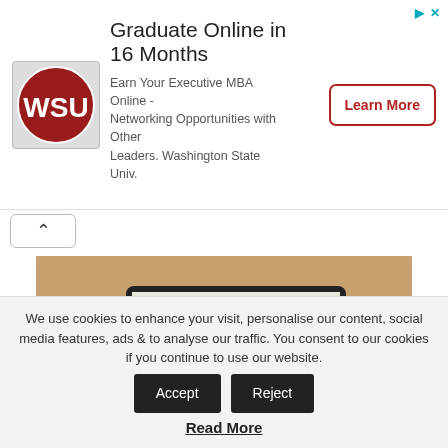[Figure (infographic): Advertisement banner: WSU logo on left, headline 'Graduate Online in 16 Months', subtitle text about Executive MBA, and 'Learn More' button on right with small ad icons top-right]
[Figure (photo): Photo of person typing on laptop showing a newsletter webpage, with email envelope icons floating around on a wooden desk with a plant]
Get Your Products Or Services Into The Inboxes of 35,000+
We use cookies to enhance your visit, personalise our content, social media features, ads & to analyse our traffic. You consent to our cookies if you continue to use our website.
Read More